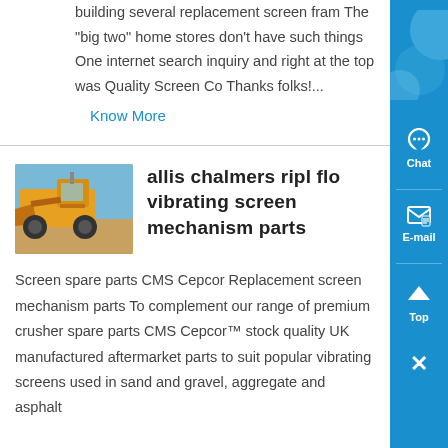building several replacement screen fram The "big two" home stores don't have such things One internet search inquiry and right at the top was Quality Screen Co Thanks folks!...
Know More
[Figure (photo): Yellow heavy construction/mining vehicle (wheel loader or similar) photographed outdoors]
allis chalmers ripl flo vibrating screen mechanism parts
Screen spare parts CMS Cepcor Replacement screen mechanism parts To complement our range of premium crusher spare parts CMS Cepcor™ stock quality UK manufactured aftermarket parts to suit popular vibrating screens used in sand and gravel, aggregate and asphalt